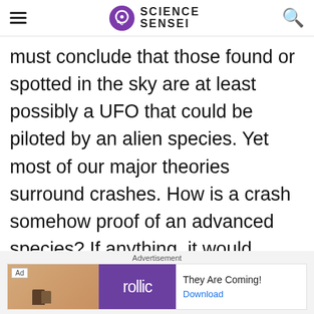Science Sensei
must conclude that those found or spotted in the sky are at least possibly a UFO that could be piloted by an alien species. Yet most of our major theories surround crashes. How is a crash somehow proof of an advanced species? If anything, it would prove it's a lesser species OR it's simply a test object made by another country.
[Figure (other): Advertisement banner: Rollic game ad with text 'They Are Coming!' and a Download link]